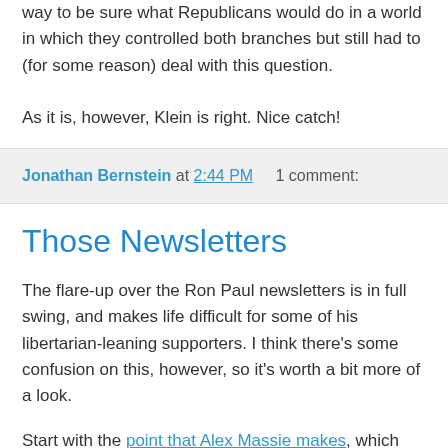way to be sure what Republicans would do in a world in which they controlled both branches but still had to (for some reason) deal with this question.
As it is, however, Klein is right. Nice catch!
Jonathan Bernstein at 2:44 PM    1 comment:
Those Newsletters
The flare-up over the Ron Paul newsletters is in full swing, and makes life difficult for some of his libertarian-leaning supporters. I think there's some confusion on this, however, so it's worth a bit more of a look.
Start with the point that Alex Massie makes, which should in fact be the jumping off point for any discussion of this: Ron Paul isn't going to be president, and he isn't going to be the nominee, and everyone knows or should know it: